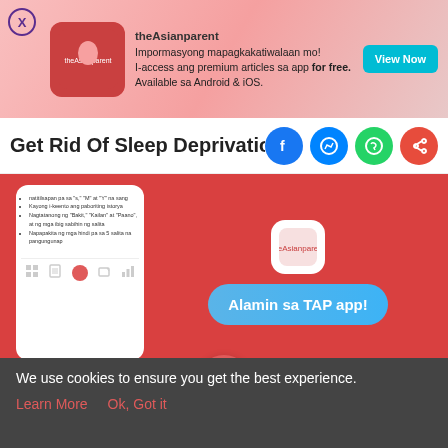[Figure (screenshot): theAsianparent app advertisement banner with pink background, logo, tagline in Filipino, and View Now button]
Get Rid Of Sleep Deprivation With Th...
[Figure (screenshot): Red promotional banner with phone mockup showing app content and Alamin sa TAP app! button in blue]
[Figure (screenshot): Bottom navigation bar with Tools, Articles, home/feet icon (active), Feed, and Poll items]
We use cookies to ensure you get the best experience.
Learn More   Ok, Got it